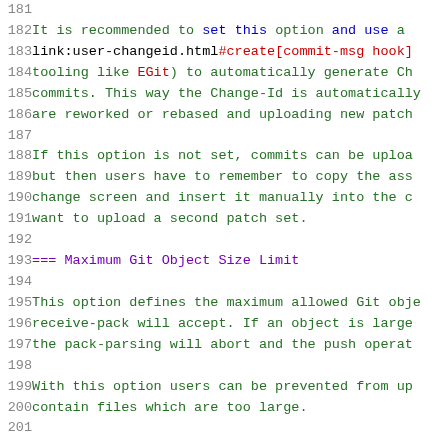181 (empty line)
182 It is recommended to set this option and use a
183 link:user-changeid.html#create[commit-msg hook]
184 tooling like EGit) to automatically generate Ch
185 commits. This way the Change-Id is automatically
186 are reworked or rebased and uploading new patch
187 (empty line)
188 If this option is not set, commits can be uploa
189 but then users have to remember to copy the ass
190 change screen and insert it manually into the c
191 want to upload a second patch set.
192 (empty line)
193 === Maximum Git Object Size Limit
194 (empty line)
195 This option defines the maximum allowed Git obje
196 receive-pack will accept. If an object is large
197 the pack-parsing will abort and the push operat
198 (empty line)
199 With this option users can be prevented from upl
200 contain files which are too large.
201 (empty line)